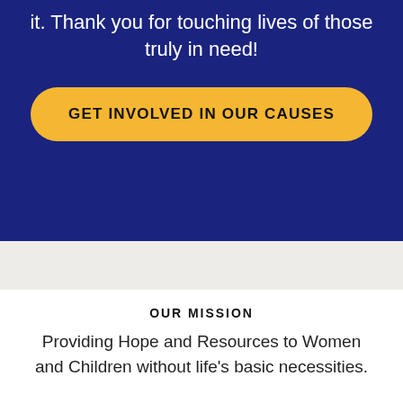it. Thank you for touching lives of those truly in need!
GET INVOLVED IN OUR CAUSES
OUR MISSION
Providing Hope and Resources to Women and Children without life's basic necessities.